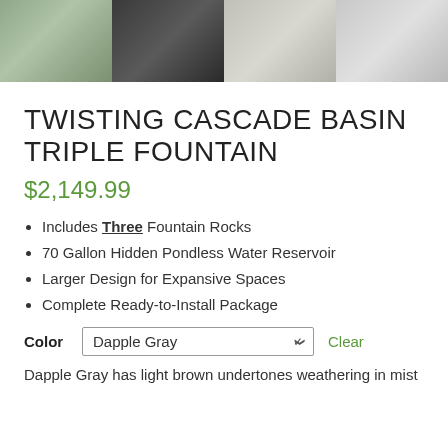[Figure (photo): Four product thumbnail images in a horizontal strip: outdoor fountain rocks scene, black basket/wicker product, schematic/diagram drawing, and gray texture close-up]
TWISTING CASCADE BASIN TRIPLE FOUNTAIN
$2,149.99
Includes Three Fountain Rocks
70 Gallon Hidden Pondless Water Reservoir
Larger Design for Expansive Spaces
Complete Ready-to-Install Package
Color  Dapple Gray  Clear
Dapple Gray has light brown undertones weathering in mist